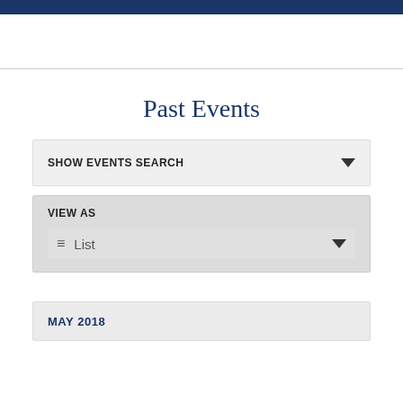Past Events
SHOW EVENTS SEARCH
VIEW AS
List
MAY 2018